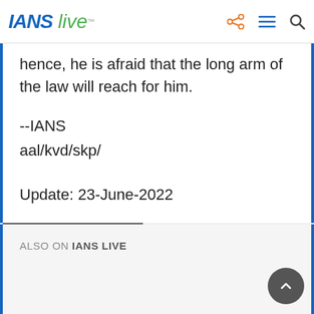IANS live
hence, he is afraid that the long arm of the law will reach for him.
--IANS
aal/kvd/skp/
Update: 23-June-2022
ALSO ON IANS LIVE